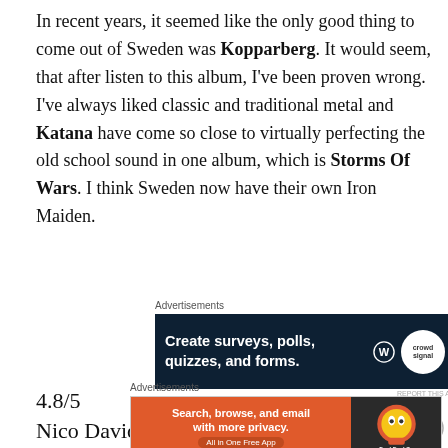In recent years, it seemed like the only good thing to come out of Sweden was Kopparberg. It would seem, that after listen to this album, I've been proven wrong. I've always liked classic and traditional metal and Katana have come so close to virtually perfecting the old school sound in one album, which is Storms Of Wars. I think Sweden now have their own Iron Maiden.
[Figure (other): Advertisement banner: 'Create surveys, polls, quizzes, and forms.' on dark navy background with WordPress and Crowdsignal logos]
4.8/5
Nico Davidson
[Figure (other): Advertisement banner: 'Search, browse, and email with more privacy. All in One Free App' DuckDuckGo ad on orange and dark background]